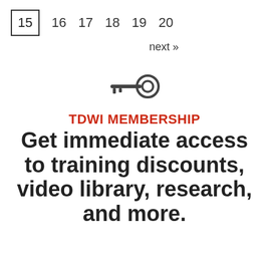15  16  17  18  19  20
next »
[Figure (illustration): Key icon / symbol representing membership access]
TDWI MEMBERSHIP
Get immediate access to training discounts, video library, research, and more.